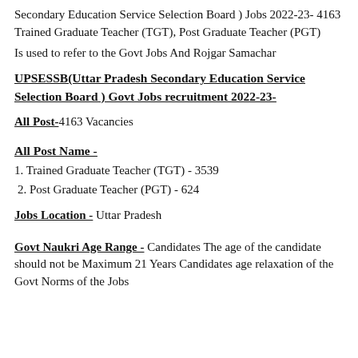Secondary Education Service Selection Board ) Jobs 2022-23- 4163 Trained Graduate Teacher (TGT), Post Graduate Teacher (PGT)
Is used to refer to the Govt Jobs And Rojgar Samachar
UPSESSB(Uttar Pradesh Secondary Education Service Selection Board ) Govt Jobs recruitment 2022-23-
All Post- 4163 Vacancies
All Post Name -
1. Trained Graduate Teacher (TGT) - 3539
2. Post Graduate Teacher (PGT) - 624
Jobs Location - Uttar Pradesh
Govt Naukri Age Range - Candidates The age of the candidate should not be Maximum 21 Years Candidates age relaxation of the Govt Norms of the Jobs